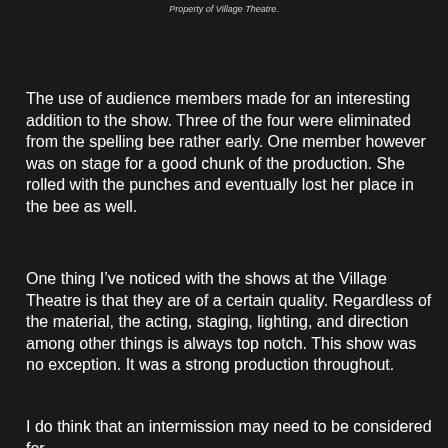Property of Village Theatre.
The use of audience members made for an interesting addition to the show. Three of the four were eliminated from the spelling bee rather early. One member however was on stage for a good chunk of the production. She rolled with the punches and eventually lost her place in the bee as well.
One thing I've noticed with the shows at the Village Theatre is that they are of a certain quality. Regardless of the material, the acting, staging, lighting, and direction among other things is always top notch. This show was no exception. It was a strong production throughout.
I do think that an intermission may need to be considered for